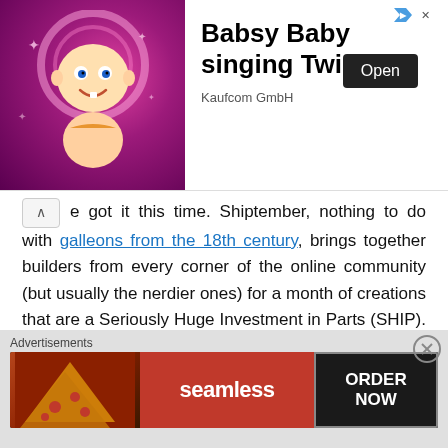[Figure (illustration): Advertisement banner for 'Babsy Baby singing Twinkle' by Kaufcom GmbH, showing a cartoon baby on pink background with an Open button]
e got it this time. Shiptember, nothing to do with galleons from the 18th century, brings together builders from every corner of the online community (but usually the nerdier ones) for a month of creations that are a Seriously Huge Investment in Parts (SHIP). To qualify spaceships must be at least 100 studs long, as decreed by someone a long time ago for reasons long forgotten, and the results are – as you'd expect – massive. This is the 106-stud long SVB Kilimanjaro by Flickr's Shannon Sproule, we have absolutely no idea what it does, and there's lots more to see here.
[Figure (illustration): Seamless food delivery advertisement at bottom with pizza image, red seamless logo, and ORDER NOW button]